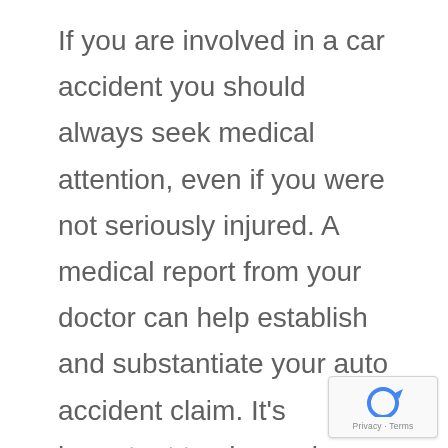If you are involved in a car accident you should always seek medical attention, even if you were not seriously injured. A medical report from your doctor can help establish and substantiate your auto accident claim. It's important to also make a police report to document
[Figure (logo): reCAPTCHA badge with Google reCAPTCHA logo and Privacy - Terms text]